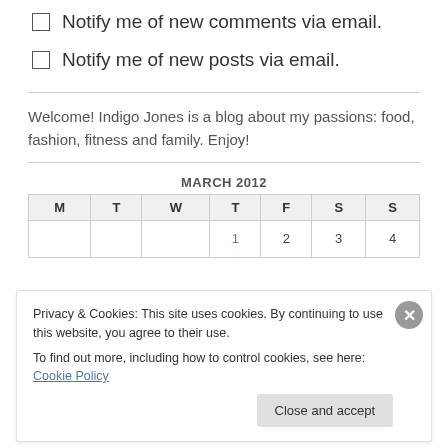Notify me of new comments via email.
Notify me of new posts via email.
Welcome! Indigo Jones is a blog about my passions: food, fashion, fitness and family. Enjoy!
| M | T | W | T | F | S | S |
| --- | --- | --- | --- | --- | --- | --- |
|  |  |  | 1 | 2 | 3 | 4 |
Privacy & Cookies: This site uses cookies. By continuing to use this website, you agree to their use.
To find out more, including how to control cookies, see here: Cookie Policy